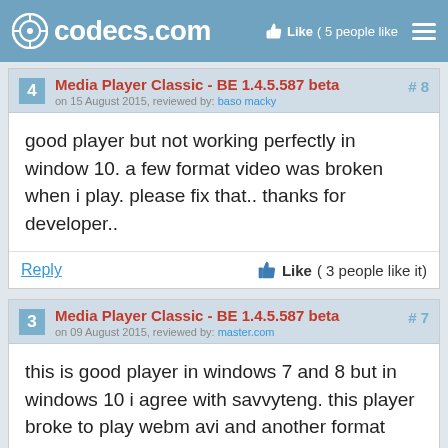codecs.com — Like (5 people like...)
4 Media Player Classic - BE 1.4.5.587 beta #8
on 15 August 2015, reviewed by: baso macky
good player but not working perfectly in window 10. a few format video was broken when i play. please fix that.. thanks for developer..
Reply  Like ( 3 people like it)
3 Media Player Classic - BE 1.4.5.587 beta #7
on 09 August 2015, reviewed by: master.com
this is good player in windows 7 and 8 but in windows 10 i agree with savvyteng. this player broke to play webm avi and another format sometimes and mpc-hc smooth for window 10. thanks..
Reply  Like ( 2 people like it)